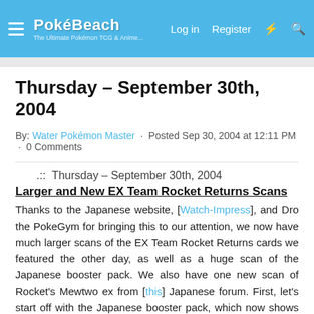PokéBeach — Log in · Register
Thursday – September 30th, 2004
By: Water Pokémon Master · Posted Sep 30, 2004 at 12:11 PM · 0 Comments
.::  Thursday – September 30th, 2004
Larger and New EX Team Rocket Returns Scans
Thanks to the Japanese website, [Watch-Impress], and Dro the PokeGym for bringing this to our attention, we now have much larger scans of the EX Team Rocket Returns cards we featured the other day, as well as a huge scan of the Japanese booster pack. We also have one new scan of Rocket's Mewtwo ex from [this] Japanese forum. First, let's start off with the Japanese booster pack, which now shows us who all the Pokemon on the packs are. If you scroll down to the news story with the Japanese booster pack, you can see that we did not know who two Pokemon are. As of now, we now know that the Pokemon on the left is